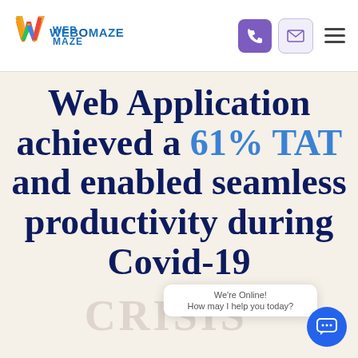[Figure (logo): Webomaze logo with colorful W icon and WEBOMAZE text in blue/teal]
Web Application achieved a 61% TAT and enabled seamless productivity during Covid-19 crisis